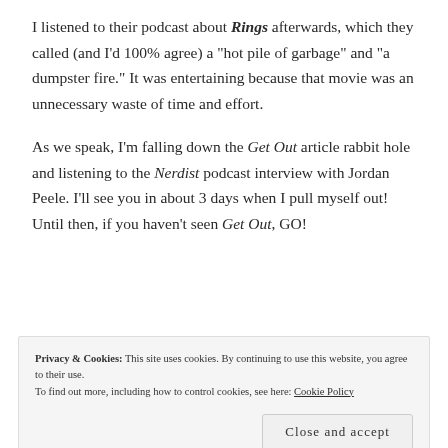I listened to their podcast about Rings afterwards, which they called (and I'd 100% agree) a "hot pile of garbage" and "a dumpster fire." It was entertaining because that movie was an unnecessary waste of time and effort.
As we speak, I'm falling down the Get Out article rabbit hole and listening to the Nerdist podcast interview with Jordan Peele. I'll see you in about 3 days when I pull myself out! Until then, if you haven't seen Get Out, GO!
Privacy & Cookies: This site uses cookies. By continuing to use this website, you agree to their use.
To find out more, including how to control cookies, see here: Cookie Policy
Close and accept